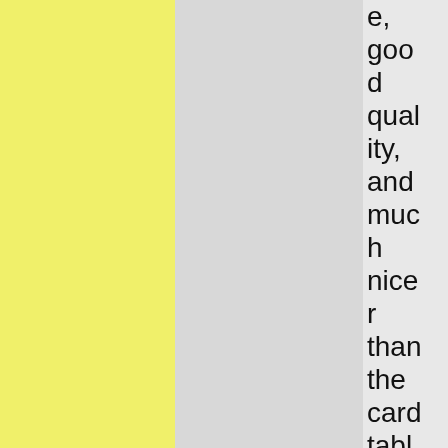e, good quality, and much nicer than the card table it covered – ruffled lightly in the